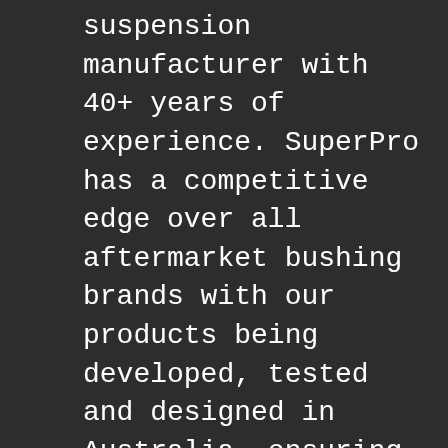suspension manufacturer with 40+ years of experience. SuperPro has a competitive edge over all aftermarket bushing brands with our products being developed, tested and designed in Australia, ensuring greater quality during the manufacturing and engineering process with the ability to develop advanced bushing designs. SuperPro bushings offer greater quality and reliability through their unique materials, made from a proprietary polyurethane mix which has been thoroughly tested and refined over 40+ years to suit Australia's harsh conditions. Our innovative bushings have been